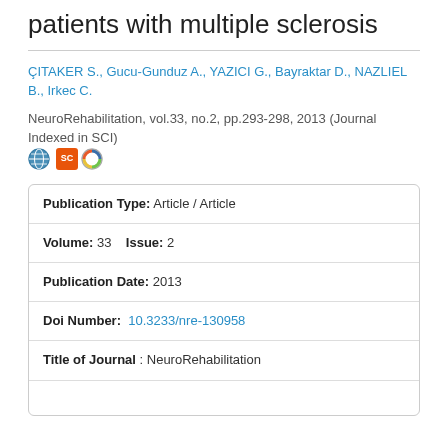patients with multiple sclerosis
ÇITAKER S., Gucu-Gunduz A., YAZICI G., Bayraktar D., NAZLIEL B., Irkec C.
NeuroRehabilitation, vol.33, no.2, pp.293-298, 2013 (Journal Indexed in SCI)
| Field | Value |
| --- | --- |
| Publication Type | Article / Article |
| Volume | 33   Issue: 2 |
| Publication Date | 2013 |
| Doi Number | 10.3233/nre-130958 |
| Title of Journal | NeuroRehabilitation |